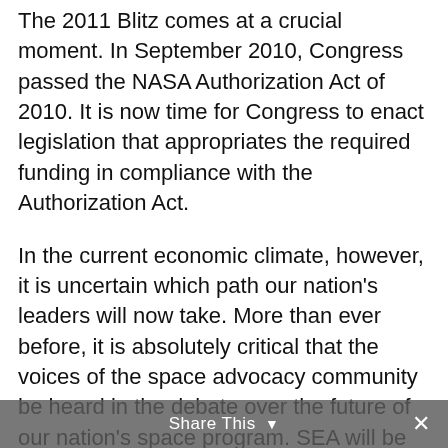The 2011 Blitz comes at a crucial moment. In September 2010, Congress passed the NASA Authorization Act of 2010. It is now time for Congress to enact legislation that appropriates the required funding in compliance with the Authorization Act.
In the current economic climate, however, it is uncertain which path our nation's leaders will now take. More than ever before, it is absolutely critical that the voices of the space advocacy community be heard in the debate over the future of our nation's space program. SEA will be calling upon Congress to ensure NASA is a compelling national
Share This ×